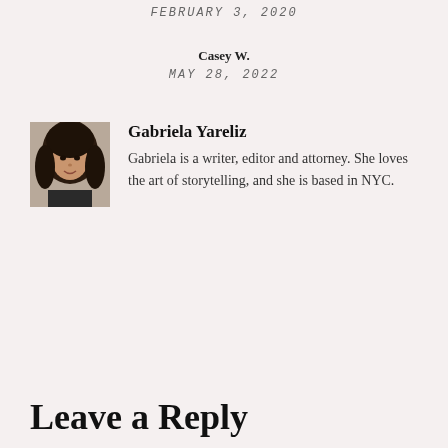FEBRUARY 3, 2020
Casey W.
MAY 28, 2022
[Figure (photo): Portrait photo of Gabriela Yareliz, a young woman with long dark hair]
Gabriela Yareliz
Gabriela is a writer, editor and attorney. She loves the art of storytelling, and she is based in NYC.
Leave a Reply